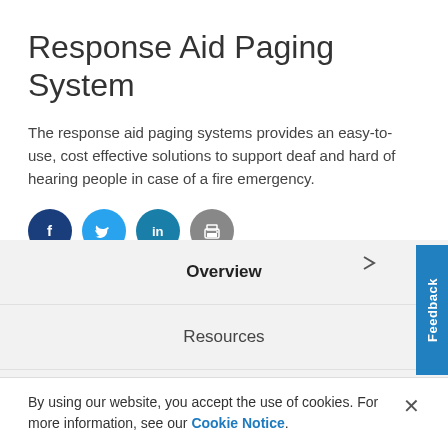Response Aid Paging System
The response aid paging systems provides an easy-to-use, cost effective solutions to support deaf and hard of hearing people in case of a fire emergency.
[Figure (infographic): Social sharing icons: Facebook (dark blue), Twitter (light blue), LinkedIn (teal), Print (grey)]
Overview
Resources
SKU
Feedback
By using our website, you accept the use of cookies. For more information, see our Cookie Notice.